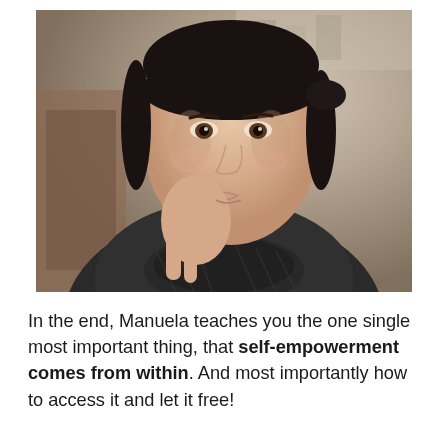[Figure (photo): Portrait photo of a woman named Manuela with dark hair pulled back, wearing a dark charcoal turtleneck sweater, resting her chin/cheek on her hand, looking directly at camera with a subtle smile. Background shows a fireplace and shelves out of focus.]
In the end, Manuela teaches you the one single most important thing, that self-empowerment comes from within. And most importantly how to access it and let it free!